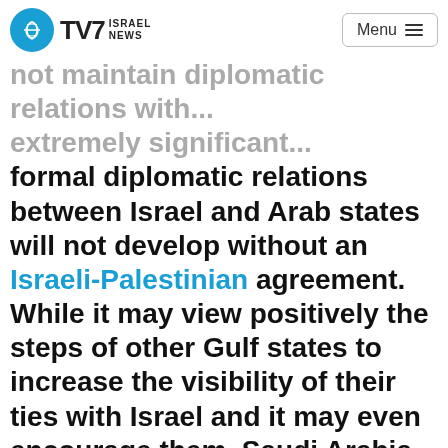TV7 Israel News | Menu
not maintain diplomatic relations with... extremely significant... formal diplomatic relations between Israel and Arab states will not develop without an Israeli-Palestinian agreement. While it may view positively the steps of other Gulf states to increase the visibility of their ties with Israel and it may even encourage them, Saudi Arabia itself will not formal ties with Israel in the foreseeable future either.
In the past month, there has been an upsurge in overt visits by senior Israeli officials in several Arab Gulf states with which Israel does not have official bilateral diplomatic relations, as well as in positive public statements by Gulf leaders regarding Israel. The most significant... the visit by Prime Minister Net...